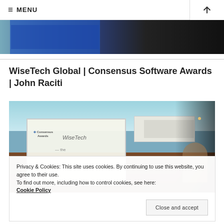≡ MENU
[Figure (photo): Partial top photo strip showing a dark conference room or event scene with blue panels]
WiseTech Global | Consensus Software Awards | John Raciti
[Figure (photo): Photo of a presentation screen showing WiseTech branding at a Consensus Awards event, with a person visible at the right]
Privacy & Cookies: This site uses cookies. By continuing to use this website, you agree to their use.
To find out more, including how to control cookies, see here:
Cookie Policy
Close and accept